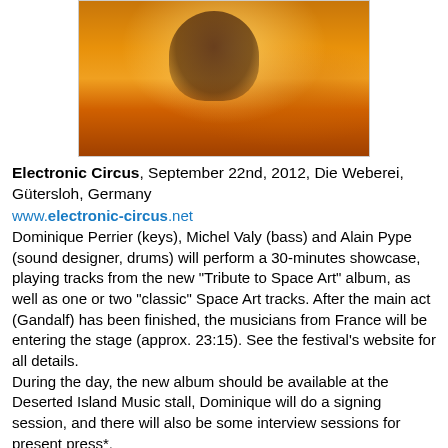[Figure (photo): Concert photo with warm orange/amber stage lighting, silhouette of performer visible against glowing background]
Electronic Circus, September 22nd, 2012, Die Weberei, Gütersloh, Germany
www.electronic-circus.net
Dominique Perrier (keys), Michel Valy (bass) and Alain Pype (sound designer, drums) will perform a 30-minutes showcase, playing tracks from the new "Tribute to Space Art" album, as well as one or two "classic" Space Art tracks. After the main act (Gandalf) has been finished, the musicians from France will be entering the stage (approx. 23:15). See the festival's website for all details.
During the day, the new album should be available at the Deserted Island Music stall, Dominique will do a signing session, and there will also be some interview sessions for present press*.
E-Live Festival, October 27th, 2012
www.e-live.nl